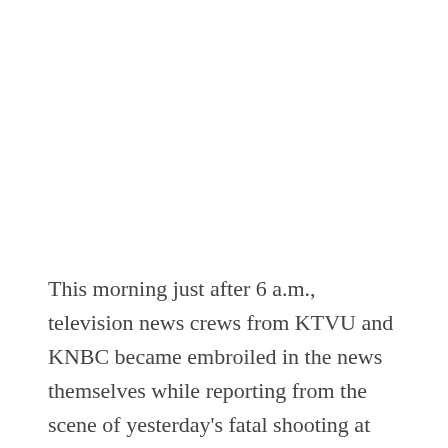This morning just after 6 a.m., television news crews from KTVU and KNBC became embroiled in the news themselves while reporting from the scene of yesterday's fatal shooting at Pier 14.